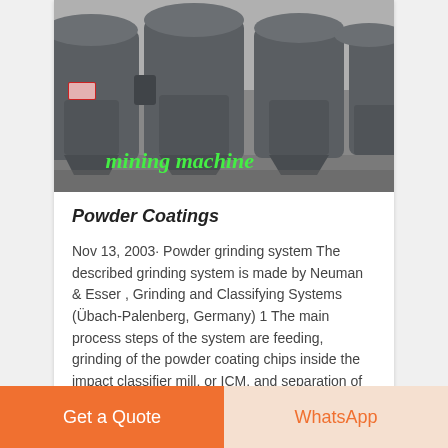[Figure (photo): Industrial mining machines (impact classifier mills) in grey metal, lined up in a warehouse. Green italic overlay text reads 'mining machine'.]
Powder Coatings
Nov 13, 2003· Powder grinding system The described grinding system is made by Neuman & Esser , Grinding and Classifying Systems (Übach-Palenberg, Germany) 1 The main process steps of the system are feeding, grinding of the powder coating chips inside the impact classifier mill, or ICM, and separation of the powder coatings from the airflow
Get a Quote
WhatsApp